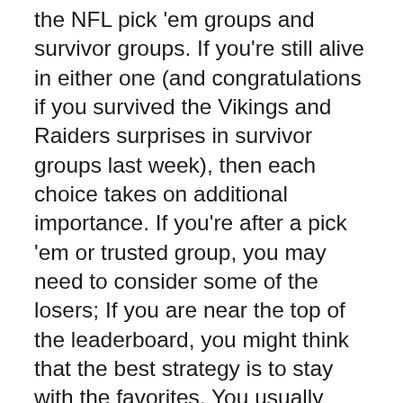the NFL pick 'em groups and survivor groups. If you're still alive in either one (and congratulations if you survived the Vikings and Raiders surprises in survivor groups last week), then each choice takes on additional importance. If you're after a pick 'em or trusted group, you may need to consider some of the losers; If you are near the top of the leaderboard, you might think that the best strategy is to stay with the favorites. You usually need a combination of both, but how you approach this week depends on your specific situation. The experts at TeamRankings are here to help you inform your NFL picks from Week 14 with strategy tips and advice on five key games.
Picks that are being considered by the public